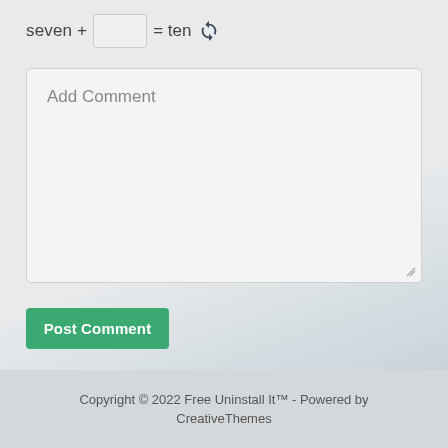seven + [input] = ten [refresh icon]
Add Comment
Post Comment
Copyright © 2022 Free Uninstall It™ - Powered by CreativeThemes